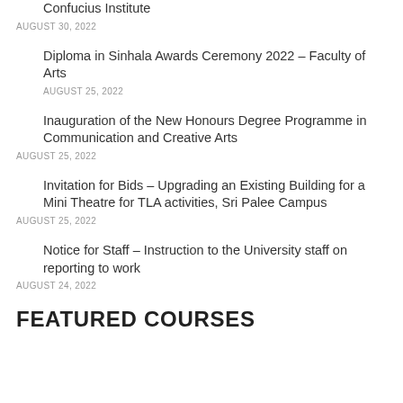Confucius Institute
AUGUST 30, 2022
Diploma in Sinhala Awards Ceremony 2022 – Faculty of Arts
AUGUST 25, 2022
Inauguration of the New Honours Degree Programme in Communication and Creative Arts
AUGUST 25, 2022
Invitation for Bids – Upgrading an Existing Building for a Mini Theatre for TLA activities, Sri Palee Campus
AUGUST 25, 2022
Notice for Staff – Instruction to the University staff on reporting to work
AUGUST 24, 2022
FEATURED COURSES